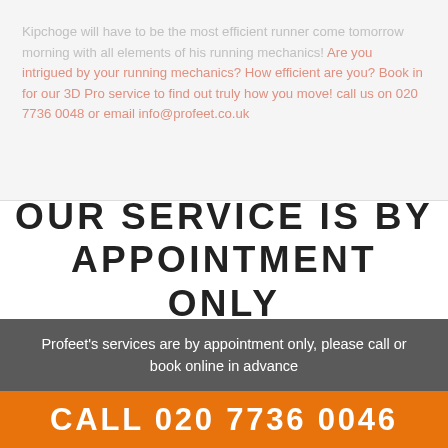Kipchoge will have to be the most efficient runner come tomorrow morning with all elements of his running mechanics! Are you intrigued by your running mechanics? How efficient are you? Book in for our 3D Pro service to find out truly how you move! call us on 020 7736 0048 or email info@profeet.co.uk
OUR SERVICE IS BY APPOINTMENT ONLY
Profeet's services are by appointment only, please call or book online in advance
CALL 020 7736 0046